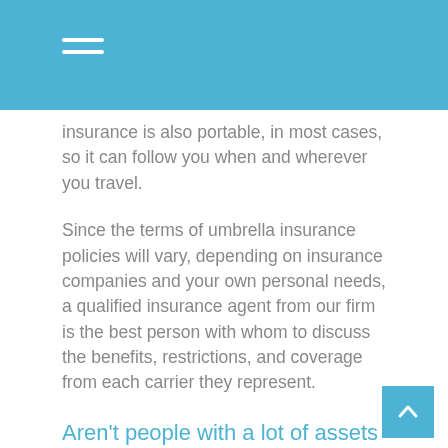insurance is also portable, in most cases, so it can follow you when and wherever you travel.
Since the terms of umbrella insurance policies will vary, depending on insurance companies and your own personal needs, a qualified insurance agent from our firm is the best person with whom to discuss the benefits, restrictions, and coverage from each carrier they represent.
Aren't people with a lot of assets the only ones who need umbrella insurance?
Actually, anyone with a job, who expects to keep the